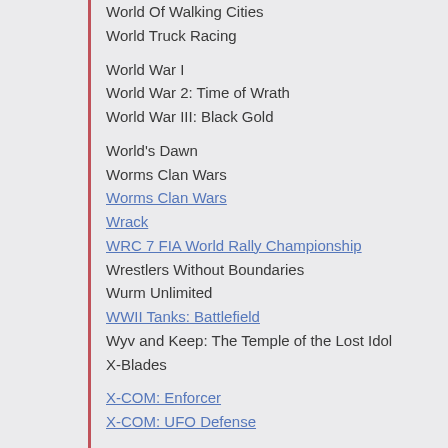World Of Walking Cities
World Truck Racing
World War I
World War 2: Time of Wrath
World War III: Black Gold
World's Dawn
Worms Clan Wars
Worms Clan Wars
Wrack
WRC 7 FIA World Rally Championship
Wrestlers Without Boundaries
Wurm Unlimited
WWII Tanks: Battlefield
Wyv and Keep: The Temple of the Lost Idol
X-Blades
X-COM: Enforcer
X-COM: UFO Defense
X-Morph: Defense Complete Pack (without Soundtrack DLC)
X-note